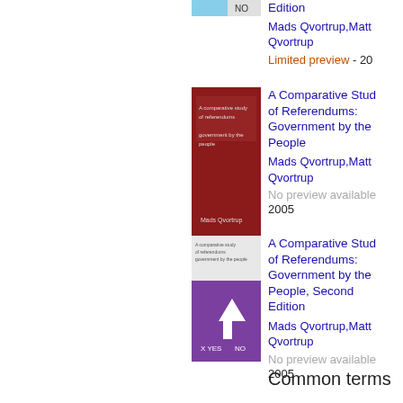[Figure (photo): Book cover thumbnail with YES/NO imagery, partially visible at top]
Edition
Mads Qvortrup,Matt Qvortrup
Limited preview - 20
[Figure (photo): Book cover for A Comparative Study of Referendums: Government by the People (red cover)]
A Comparative Study of Referendums: Government by the People
Mads Qvortrup,Matt Qvortrup
No preview available
2005
[Figure (photo): Book cover for A Comparative Study of Referendums: Government by the People, Second Edition (purple cover with YES/NO arrows)]
A Comparative Study of Referendums: Government by the People, Second Edition
Mads Qvortrup,Matt Qvortrup
No preview available
2005
Common terms